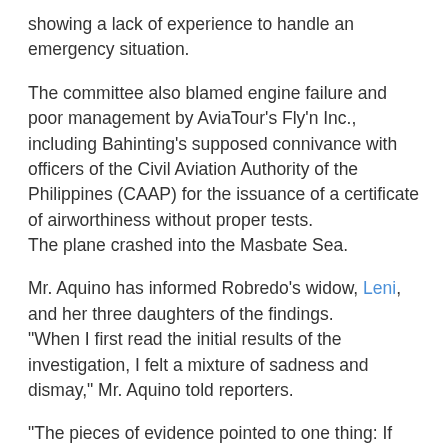showing a lack of experience to handle an emergency situation.
The committee also blamed engine failure and poor management by AviaTour's Fly'n Inc., including Bahinting's supposed connivance with officers of the Civil Aviation Authority of the Philippines (CAAP) for the issuance of a certificate of airworthiness without proper tests. The plane crashed into the Masbate Sea.
Mr. Aquino has informed Robredo's widow, Leni, and her three daughters of the findings. “When I first read the initial results of the investigation, I felt a mixture of sadness and dismay,” Mr. Aquino told reporters.
“The pieces of evidence pointed to one thing: If some people did their job, if the rules of the industry were followed, if those involved were only faithful to their obligations, the tragedy could have been avoided,” he said.
Option of turning back